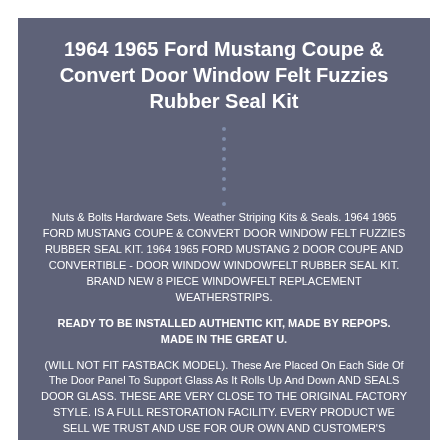1964 1965 Ford Mustang Coupe & Convert Door Window Felt Fuzzies Rubber Seal Kit
Nuts & Bolts Hardware Sets. Weather Striping Kits & Seals. 1964 1965 FORD MUSTANG COUPE & CONVERT DOOR WINDOW FELT FUZZIES RUBBER SEAL KIT. 1964 1965 FORD MUSTANG 2 DOOR COUPE AND CONVERTIBLE - DOOR WINDOW WINDOWFELT RUBBER SEAL KIT. BRAND NEW 8 PIECE WINDOWFELT REPLACEMENT WEATHERSTRIPS.
READY TO BE INSTALLED AUTHENTIC KIT, MADE BY REPOPS. MADE IN THE GREAT U.
(WILL NOT FIT FASTBACK MODEL). These Are Placed On Each Side Of The Door Panel To Support Glass As It Rolls Up And Down AND SEALS DOOR GLASS. THESE ARE VERY CLOSE TO THE ORIGINAL FACTORY STYLE. IS A FULL RESTORATION FACILITY. EVERY PRODUCT WE SELL WE TRUST AND USE FOR OUR OWN AND CUSTOMER'S